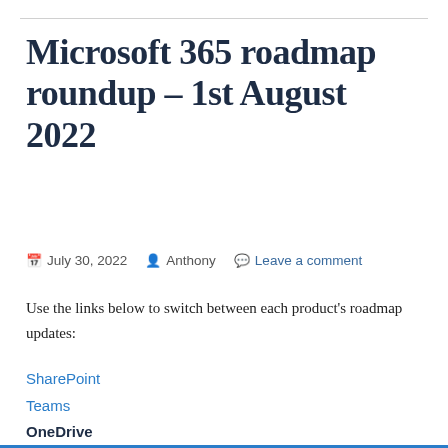Microsoft 365 roadmap roundup – 1st August 2022
July 30, 2022  Anthony  Leave a comment
Use the links below to switch between each product's roadmap updates:
SharePoint
Teams
OneDrive
Microsoft Information Protection